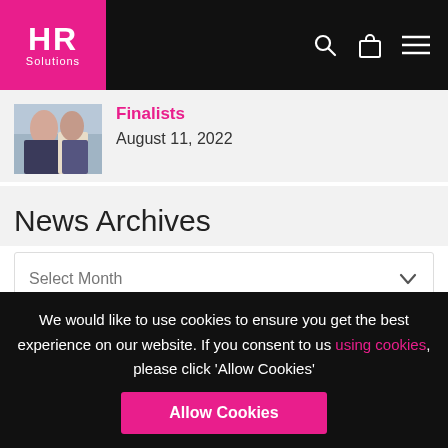HR Solutions - Navigation header with logo, search, cart and menu icons
Finalists
August 11, 2022
News Archives
Select Month
Tags
Our website uses tracking technologies to learn how our visitors interact with our site so
We would like to use cookies to ensure you get the best experience on our website. If you consent to us using cookies, please click 'Allow Cookies'